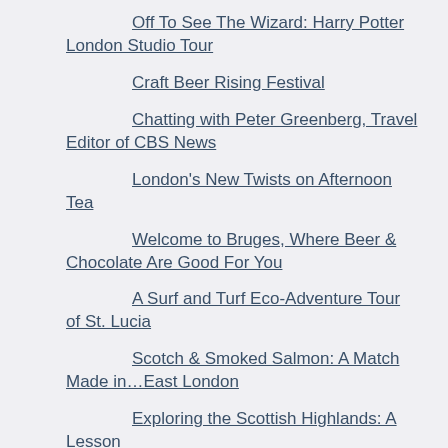Off To See The Wizard: Harry Potter London Studio Tour
Craft Beer Rising Festival
Chatting with Peter Greenberg, Travel Editor of CBS News
London's New Twists on Afternoon Tea
Welcome to Bruges, Where Beer & Chocolate Are Good For You
A Surf and Turf Eco-Adventure Tour of St. Lucia
Scotch & Smoked Salmon: A Match Made in…East London
Exploring the Scottish Highlands: A Lesson